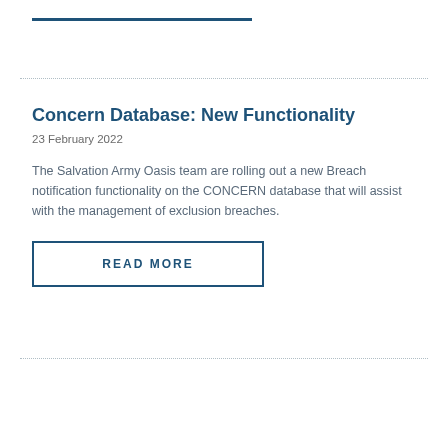Concern Database: New Functionality
23 February 2022
The Salvation Army Oasis team are rolling out a new Breach notification functionality on the CONCERN database that will assist with the management of exclusion breaches.
READ MORE